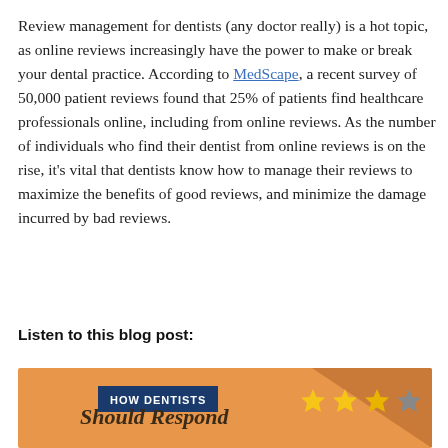Review management for dentists (any doctor really) is a hot topic, as online reviews increasingly have the power to make or break your dental practice. According to MedScape, a recent survey of 50,000 patient reviews found that 25% of patients find healthcare professionals online, including from online reviews. As the number of individuals who find their dentist from online reviews is on the rise, it’s vital that dentists know how to manage their reviews to maximize the benefits of good reviews, and minimize the damage incurred by bad reviews.
Listen to this blog post:
[Figure (infographic): Infographic with orange background, a dark blue banner reading HOW DENTISTS, and cursive text reading Should Respond, with star rating icons (3 yellow stars and 1 grey star visible)]